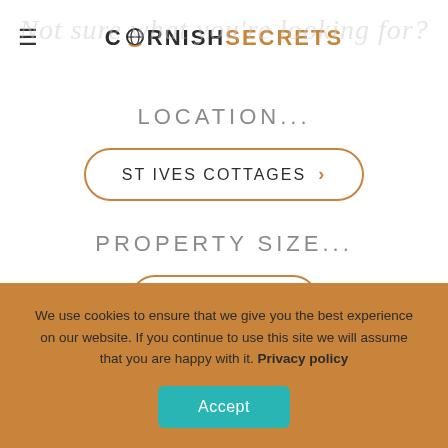CORNISH SECRETS
LOCATION...
ST IVES COTTAGES >
PROPERTY SIZE...
2 PEOPLE >
We use cookies to ensure that we give you the best experience on our website. If you continue to use this site we will assume that you are happy with it. Privacy policy
Accept